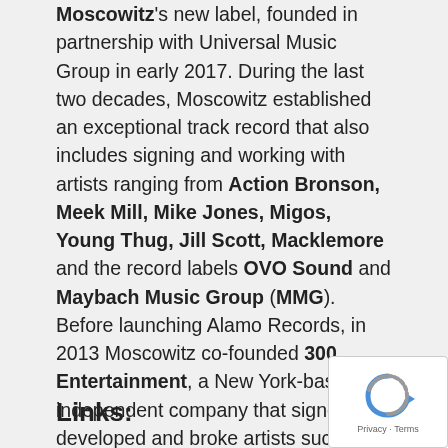Moscowitz's new label, founded in partnership with Universal Music Group in early 2017. During the last two decades, Moscowitz established an exceptional track record that also includes signing and working with artists ranging from Action Bronson, Meek Mill, Mike Jones, Migos, Young Thug, Jill Scott, Macklemore and the record labels OVO Sound and Maybach Music Group (MMG). Before launching Alamo Records, in 2013 Moscowitz co-founded 300 Entertainment, a New York-based independent company that signed, developed and broke artists such Fetty Wap, Highly Suspect and Migos.
Links:
[Figure (other): reCAPTCHA widget with Privacy and Terms text]